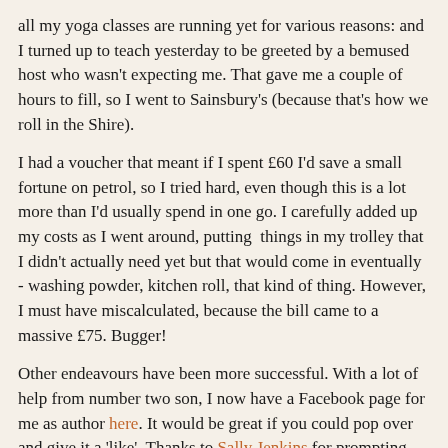all my yoga classes are running yet for various reasons: and I turned up to teach yesterday to be greeted by a bemused host who wasn't expecting me. That gave me a couple of hours to fill, so I went to Sainsbury's (because that's how we roll in the Shire).
I had a voucher that meant if I spent £60 I'd save a small fortune on petrol, so I tried hard, even though this is a lot more than I'd usually spend in one go. I carefully added up my costs as I went around, putting  things in my trolley that I didn't actually need yet but that would come in eventually - washing powder, kitchen roll, that kind of thing. However, I must have miscalculated, because the bill came to a massive £75. Bugger!
Other endeavours have been more successful. With a lot of help from number two son, I now have a Facebook page for me as author here. It would be great if you could pop over and give it a 'like'. Thanks to Sally Jenkins for prompting me to get on with this - and please 'like' her page, too.
Off to the theatre tonight to see The Play That Went Wrong. Laughs galore are expected.